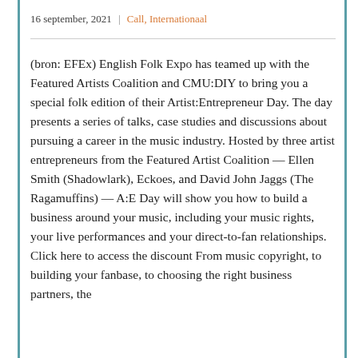16 september, 2021 | Call, Internationaal
(bron: EFEx) English Folk Expo has teamed up with the Featured Artists Coalition and CMU:DIY to bring you a special folk edition of their Artist:Entrepreneur Day. The day presents a series of talks, case studies and discussions about pursuing a career in the music industry. Hosted by three artist entrepreneurs from the Featured Artist Coalition — Ellen Smith (Shadowlark), Eckoes, and David John Jaggs (The Ragamuffins) — A:E Day will show you how to build a business around your music, including your music rights, your live performances and your direct-to-fan relationships. Click here to access the discount From music copyright, to building your fanbase, to choosing the right business partners, the